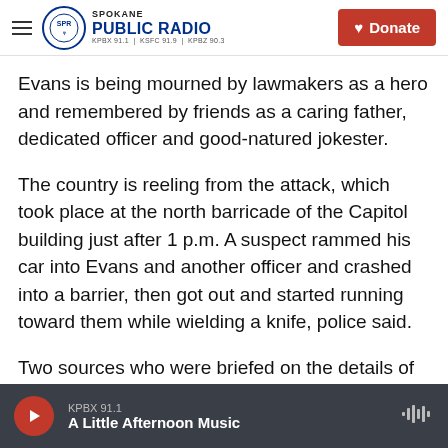Spokane Public Radio — KPBX 91.1 | KSFC 91.9 | KPBZ 90.3 | Donate
Evans is being mourned by lawmakers as a hero and remembered by friends as a caring father, dedicated officer and good-natured jokester.
The country is reeling from the attack, which took place at the north barricade of the Capitol building just after 1 p.m. A suspect rammed his car into Evans and another officer and crashed into a barrier, then got out and started running toward them while wielding a knife, police said.
Two sources who were briefed on the details of the investigation confirm the suspect has been
KPBX 91.1 — A Little Afternoon Music